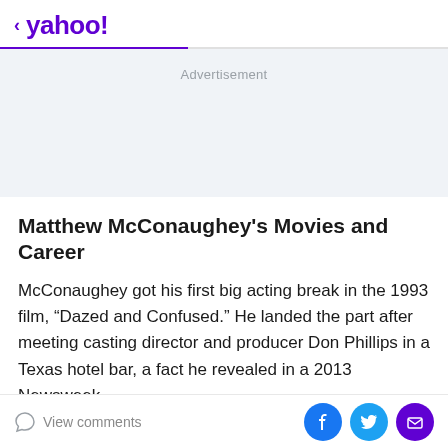< yahoo!
Advertisement
Matthew McConaughey's Movies and Career
McConaughey got his first big acting break in the 1993 film, “Dazed and Confused.” He landed the part after meeting casting director and producer Don Phillips in a Texas hotel bar, a fact he revealed in a 2013 Newsweek
View comments